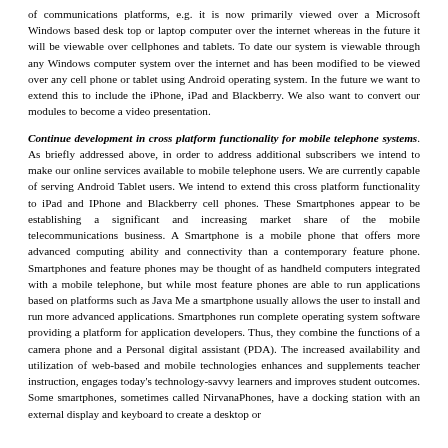of communications platforms, e.g. it is now primarily viewed over a Microsoft Windows based desk top or laptop computer over the internet whereas in the future it will be viewable over cellphones and tablets. To date our system is viewable through any Windows computer system over the internet and has been modified to be viewed over any cell phone or tablet using Android operating system. In the future we want to extend this to include the iPhone, iPad and Blackberry. We also want to convert our modules to become a video presentation.
Continue development in cross platform functionality for mobile telephone systems. As briefly addressed above, in order to address additional subscribers we intend to make our online services available to mobile telephone users. We are currently capable of serving Android Tablet users. We intend to extend this cross platform functionality to iPad and IPhone and Blackberry cell phones. These Smartphones appear to be establishing a significant and increasing market share of the mobile telecommunications business. A Smartphone is a mobile phone that offers more advanced computing ability and connectivity than a contemporary feature phone. Smartphones and feature phones may be thought of as handheld computers integrated with a mobile telephone, but while most feature phones are able to run applications based on platforms such as Java Me a smartphone usually allows the user to install and run more advanced applications. Smartphones run complete operating system software providing a platform for application developers. Thus, they combine the functions of a camera phone and a Personal digital assistant (PDA). The increased availability and utilization of web-based and mobile technologies enhances and supplements teacher instruction, engages today's technology-savvy learners and improves student outcomes. Some smartphones, sometimes called NirvanaPhones, have a docking station with an external display and keyboard to create a desktop or